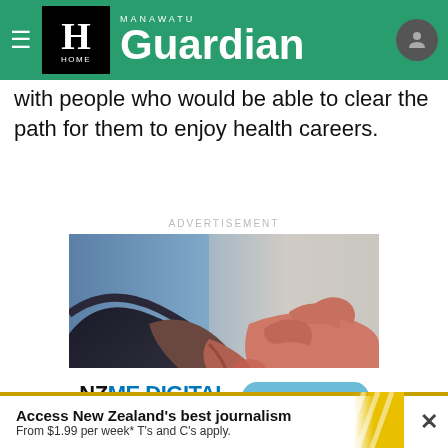Manawatu Guardian
with people who would be able to clear the path for them to enjoy health careers.
ADVERTISEMENT
[Figure (photo): Two people shaking hands, close-up photo with blue background on left and light background on right]
[Figure (logo): NZME.DIGITAL — PERFORMANCE MARKETING logo with FIND OUT MORE button]
Access New Zealand's best journalism
From $1.99 per week* T's and C's apply.